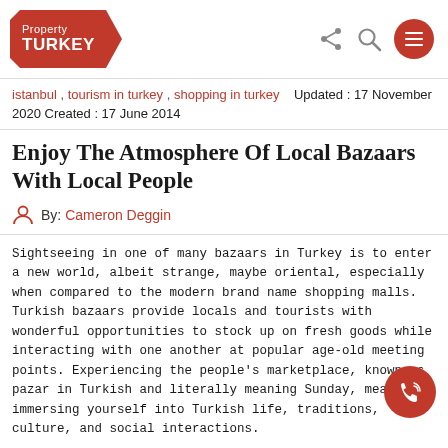Property TURKEY
istanbul , tourism in turkey , shopping in turkey   Updated : 17 November 2020 Created : 17 June 2014
Enjoy The Atmosphere Of Local Bazaars With Local People
By: Cameron Deggin
Sightseeing in one of many bazaars in Turkey is to enter a new world, albeit strange, maybe oriental, especially when compared to the modern brand name shopping malls. Turkish bazaars provide locals and tourists with wonderful opportunities to stock up on fresh goods while interacting with one another at popular age-old meeting points. Experiencing the people's marketplace, known as pazar in Turkish and literally meaning Sunday, means immersing yourself into Turkish life, traditions, culture, and social interactions.
Some foreigners are hesitant to visit for fear of either being for their ignorance about prices. But this is a big mistake. Al for a gentle stroll, and bargaining for a good price is an exciting